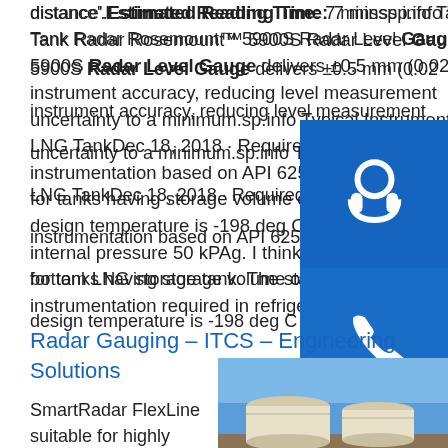distance'. Estimated Reading Time: 7 minssp.info Tank Gauging - Black Gold ACNon-Contacting LNG Tank Radar Rosemount™ 5900S Radar Level Gauge The Rosemount 5900S Radar Level Gauge delivers ±0.5 mm (0.02 instrument accuracy, reducing level measurement uncertainty to a minimum.sp.info Typical Instrumentation LNG TankDec 18, 2018 · Required LNG tank instrumentation based on API 625. API 625 is applicable for tanks having storage volume of 800 m3 with minimum design temperature is -198 deg C and maximum design internal pressure 50 kPAg. I think this is applicable to bottom LNG storage tank. The standard explains instrumentation required in refrigerated tanks.
[Figure (illustration): Blue square button with white headset/support icon]
[Figure (illustration): Blue square button with white phone icon]
[Figure (illustration): Blue square button with white Skype icon]
Radar Gauging – ITCS – Engineering Solutions
SmartRadar FlexLine suitable for highly accurate level measurement on large
[Figure (photo): Photograph of large white LNG storage tanks against a blue sky]